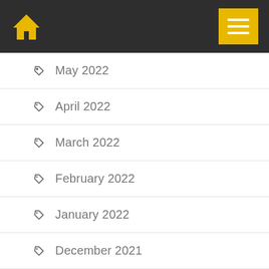Home navigation header with menu button
May 2022
April 2022
March 2022
February 2022
January 2022
December 2021
November 2021
October 2021